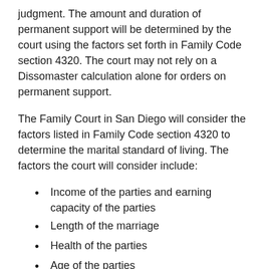judgment. The amount and duration of permanent support will be determined by the court using the factors set forth in Family Code section 4320. The court may not rely on a Dissomaster calculation alone for orders on permanent support.
The Family Court in San Diego will consider the factors listed in Family Code section 4320 to determine the marital standard of living. The factors the court will consider include:
Income of the parties and earning capacity of the parties
Length of the marriage
Health of the parties
Age of the parties